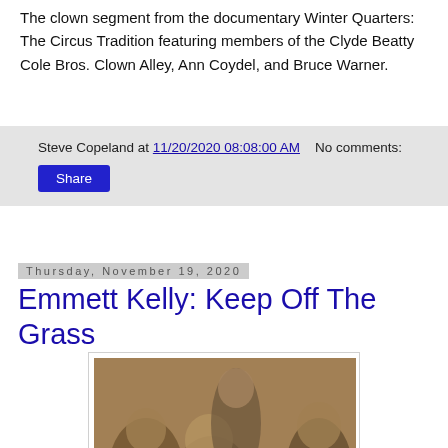The clown segment from the documentary Winter Quarters: The Circus Tradition featuring members of the Clyde Beatty Cole Bros. Clown Alley, Ann Coydel, and Bruce Warner.
Steve Copeland at 11/20/2020 08:08:00 AM    No comments:
Share
Thursday, November 19, 2020
Emmett Kelly: Keep Off The Grass
[Figure (photo): Sepia-toned vintage photograph of a group of clowns and performers posed together, multiple figures in costume, appears to be from a classic circus era.]